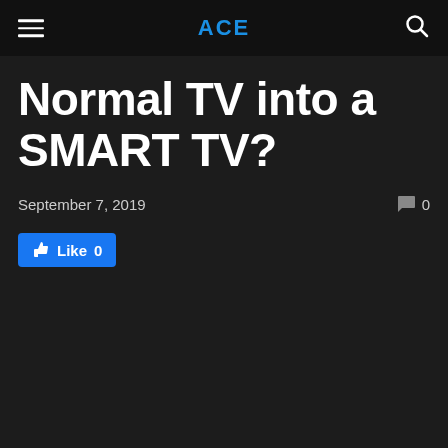ACE
Normal TV into a SMART TV?
September 7, 2019
0
Like 0